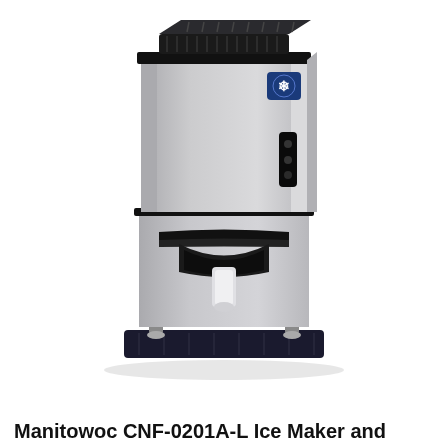[Figure (photo): Manitowoc CNF-0201A-L countertop ice maker and dispenser, stainless steel finish, with ice dispenser lever and drip tray base on four adjustable legs]
Manitowoc CNF-0201A-L Ice Maker and